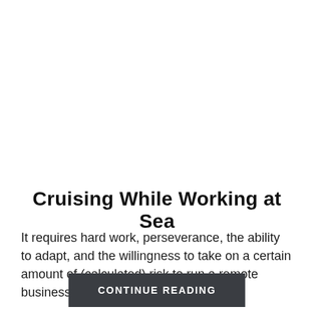Cruising While Working at Sea
It requires hard work, perseverance, the ability to adapt, and the willingness to take on a certain amount of (calculated) risk to run a remote business at sea.
CONTINUE READING